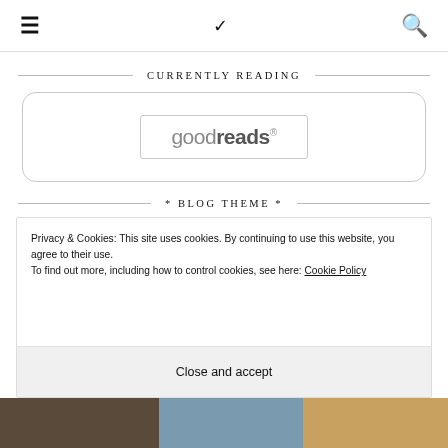☰ ∨ 🔍
CURRENTLY READING
[Figure (logo): Goodreads widget placeholder showing the Goodreads logo inside a rounded rectangle border]
* BLOG THEME *
Privacy & Cookies: This site uses cookies. By continuing to use this website, you agree to their use.
To find out more, including how to control cookies, see here: Cookie Policy
Close and accept